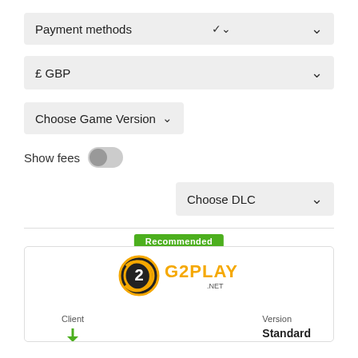Payment methods
£ GBP
Choose Game Version
Show fees
Choose DLC
Recommended
[Figure (logo): G2Play.net logo — orange and yellow stylized text 'G2PLAY' with a circular icon]
Client
Version
[Figure (illustration): Steam download icon (green arrow)]
CD Key Steam
Standard
Payment methods